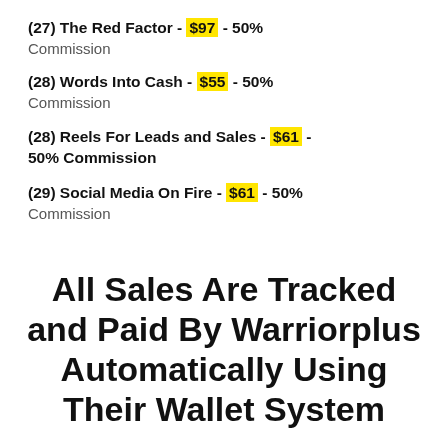(27) The Red Factor - $97 - 50% Commission
(28) Words Into Cash - $55 - 50% Commission
(28) Reels For Leads and Sales - $61 - 50% Commission
(29) Social Media On Fire - $61 - 50% Commission
All Sales Are Tracked and Paid By Warriorplus Automatically Using Their Wallet System